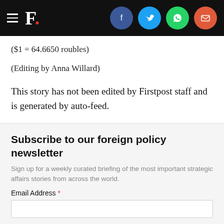F. [Firstpost logo with social share icons: Facebook, Twitter, WhatsApp, Email]
($1 = 64.6650 roubles)
(Editing by Anna Willard)
This story has not been edited by Firstpost staff and is generated by auto-feed.
Updated Date:   June 09, 2016 00:46:54 IST
TAGS: Argentina  Article  Business  Markets
Subscribe to our foreign policy newsletter
Sign up for a weekly curated briefing of the most important strategic affairs stories from across the world.
Email Address *